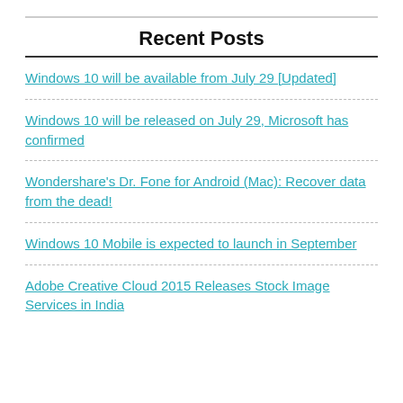Recent Posts
Windows 10 will be available from July 29 [Updated]
Windows 10 will be released on July 29, Microsoft has confirmed
Wondershare's Dr. Fone for Android (Mac): Recover data from the dead!
Windows 10 Mobile is expected to launch in September
Adobe Creative Cloud 2015 Releases Stock Image Services in India